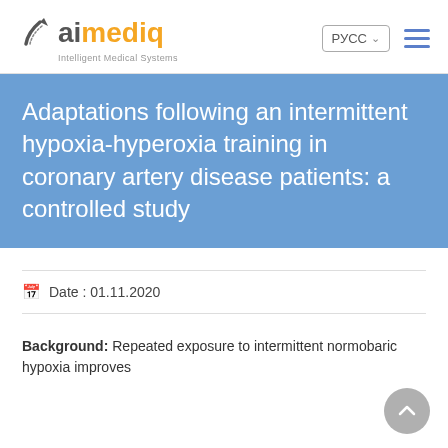aimediq — Intelligent Medical Systems | РУСС | menu
Adaptations following an intermittent hypoxia-hyperoxia training in coronary artery disease patients: a controlled study
Date : 01.11.2020
Background: Repeated exposure to intermittent normobaric hypoxia improves